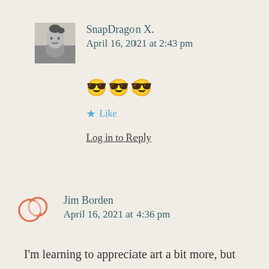SnapDragon X.
April 16, 2021 at 2:43 pm
😎😎😎
★ Like
Log in to Reply
Jim Borden
April 16, 2021 at 4:36 pm
I'm learning to appreciate art a bit more, but